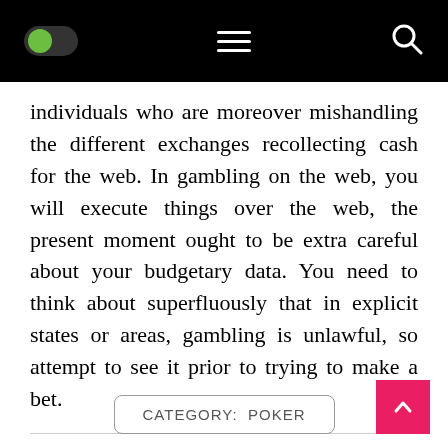[Figure (screenshot): Black navigation bar with a green toggle switch on the left, hamburger menu icon in the center, and a search (magnifying glass) icon on the right]
individuals who are moreover mishandling the different exchanges recollecting cash for the web. In gambling on the web, you will execute things over the web, the present moment ought to be extra careful about your budgetary data. You need to think about superfluously that in explicit states or areas, gambling is unlawful, so attempt to see it prior to trying to make a bet.
CATEGORY: POKER